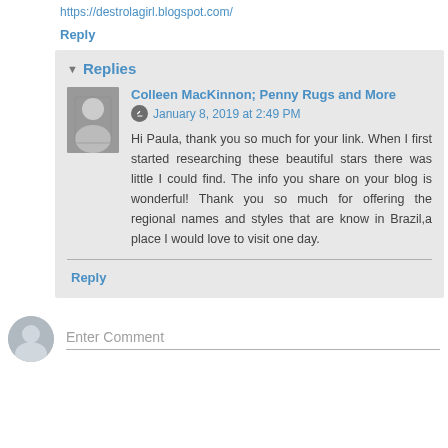https://destrolagirl.blogspot.com/
Reply
Replies
Colleen MacKinnon; Penny Rugs and More
January 8, 2019 at 2:49 PM
Hi Paula, thank you so much for your link. When I first started researching these beautiful stars there was little I could find. The info you share on your blog is wonderful! Thank you so much for offering the regional names and styles that are know in Brazil,a place I would love to visit one day.
Reply
Enter Comment